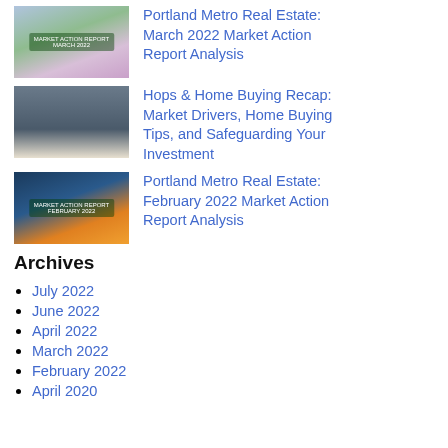[Figure (photo): Thumbnail image for Portland Metro Real Estate March 2022 Market Action Report Analysis article]
Portland Metro Real Estate: March 2022 Market Action Report Analysis
[Figure (photo): Thumbnail image for Hops & Home Buying Recap article showing conference room]
Hops & Home Buying Recap: Market Drivers, Home Buying Tips, and Safeguarding Your Investment
[Figure (photo): Thumbnail image for Portland Metro Real Estate February 2022 Market Action Report Analysis article showing city skyline]
Portland Metro Real Estate: February 2022 Market Action Report Analysis
Archives
July 2022
June 2022
April 2022
March 2022
February 2022
April 2020